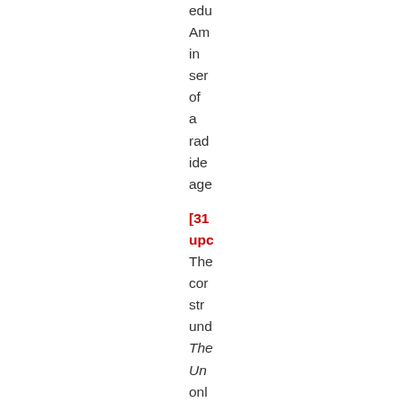edu Am in ser of a rad ide age
[31 upc
The cor str und The Un onl pos of the abo